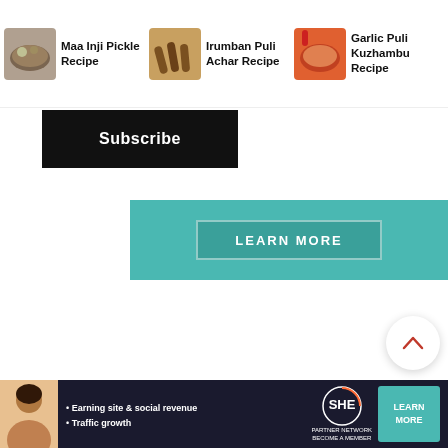[Figure (screenshot): Recipe navigation bar with three recipe thumbnails: Maa Inji Pickle Recipe, Irumban Puli Achar Recipe, Garlic Puli Kuzhambu Recipe]
Maa Inji Pickle Recipe
Irumban Puli Achar Recipe
Garlic Puli Kuzhambu Recipe
Subscribe
LEARN MORE
[Figure (photo): Two bowls of Indian pickle/curry dishes on wooden surface - left bowl has achar with lime slices, right bowl has orange-colored curry]
[Figure (photo): Red chili based Indian pickle/chutney in a stone/metal bowl, with number badge 46 visible]
[Figure (infographic): SHE Partner Network advertisement banner with avatar, bullets about earning site & social revenue and traffic growth, SHE logo, and LEARN MORE button]
• Earning site & social revenue
• Traffic growth
SHE
PARTNER NETWORK
BECOME A MEMBER
LEARN MORE